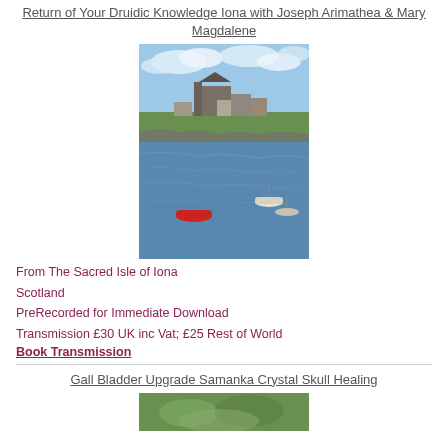Return of Your Druidic Knowledge Iona with Joseph Arimathea & Mary Magdalene
[Figure (photo): Photograph of the Sacred Isle of Iona, Scotland, showing a harbour with small boats on blue water and stone buildings with a green hillside in the background under a partly cloudy sky.]
From The Sacred Isle of Iona
Scotland
PreRecorded for Immediate Download
Transmission £30 UK inc Vat; £25 Rest of World
Book Transmission
Gall Bladder Upgrade Samanka Crystal Skull Healing
[Figure (photo): Partial photograph of a green outdoor scene, partially visible at the bottom of the page.]